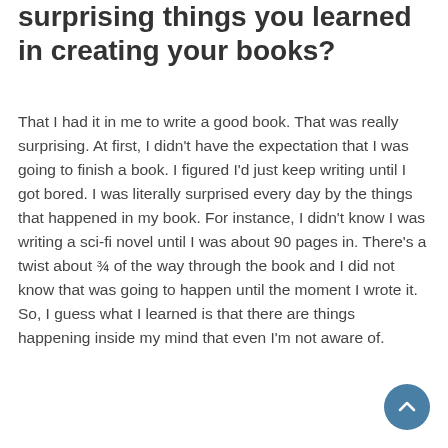surprising things you learned in creating your books?
That I had it in me to write a good book. That was really surprising. At first, I didn't have the expectation that I was going to finish a book. I figured I'd just keep writing until I got bored. I was literally surprised every day by the things that happened in my book. For instance, I didn't know I was writing a sci-fi novel until I was about 90 pages in. There's a twist about ¾ of the way through the book and I did not know that was going to happen until the moment I wrote it. So, I guess what I learned is that there are things happening inside my mind that even I'm not aware of.